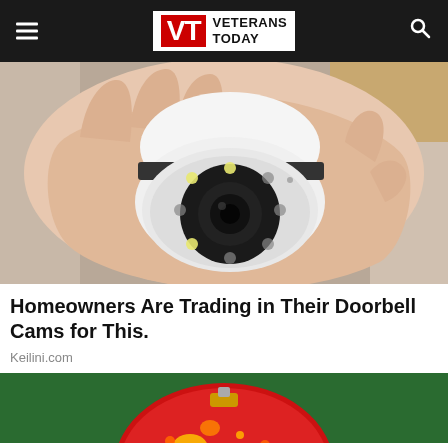Veterans Today
[Figure (photo): A hand holding a small white security camera with a round lens and LED lights arranged in a ring around the camera eye.]
Homeowners Are Trading in Their Doorbell Cams for This.
Keilini.com
[Figure (photo): Partial view of a red and green decorative ornament or glass ball on a dark green background.]